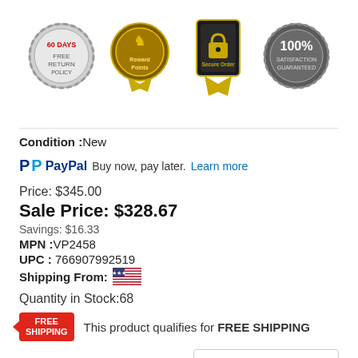[Figure (illustration): Four trust/badge icons in a row: 60 Days Policy badge (silver), Reward Points badge (gold), Secure Order badge (gold), 100% Guaranteed badge (silver)]
Condition :New
PayPal Buy now, pay later. Learn more
Price: $345.00
Sale Price: $328.67
Savings: $16.33
MPN :VP2458
UPC : 766907992519
Shipping From: [US flag]
Quantity in Stock:68
FREE SHIPPING This product qualifies for FREE SHIPPING
Order Now & Get it by: Wed Aug
[Figure (logo): 5-star rating badge with cart icon and ceshowroom.com text]
Qty: